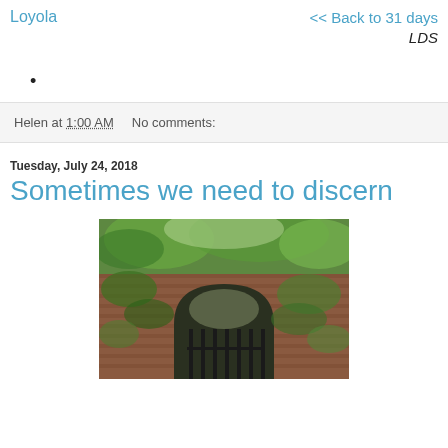Loyola
<< Back to 31 days
LDS
Helen at 1:00 AM    No comments:
Tuesday, July 24, 2018
Sometimes we need to discern
[Figure (photo): Photograph of a brick archway covered in green vines and ivy, with trees overhead and wrought iron gate visible beneath the arch]